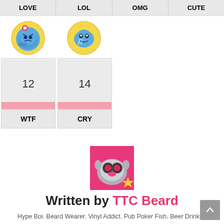| LOVE | LOL | OMG | CUTE |
| --- | --- | --- | --- |
| [emoji: blue character with flower] | [emoji: blue character crying] |  |  |
| 12 | 14 |  |  |
| WTF | CRY |  |  |
[Figure (illustration): Pink square avatar with a cartoon animal/robot character and a gold star badge — author avatar for TTC Beard]
Written by TTC Beard
Hype Boi. Beard Wearer. Vinyl Addict. Pub Poker Fish. Beer Drinker.
A man of many talents, master of none.